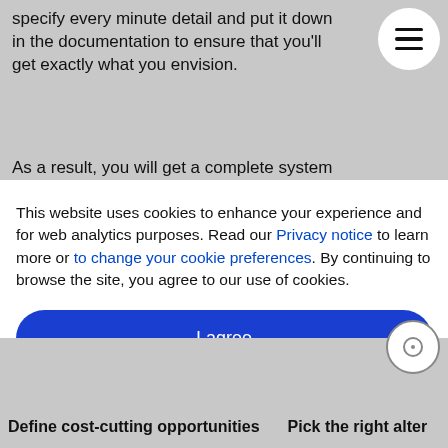specify every minute detail and put it down in the documentation to ensure that you'll get exactly what you envision.
As a result, you will get a complete system
This website uses cookies to enhance your experience and for web analytics purposes. Read our Privacy notice to learn more or to change your cookie preferences. By continuing to browse the site, you agree to our use of cookies.
I agree
Define cost-cutting opportunities
Pick the right alter